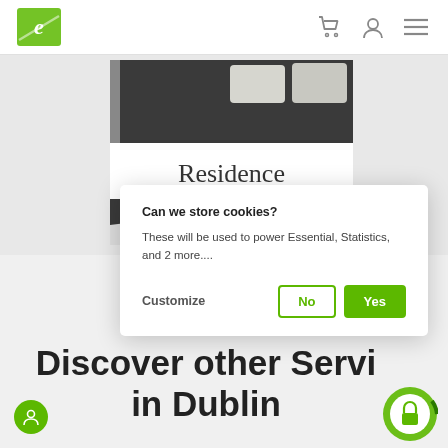e-logo, cart icon, user icon, menu icon
[Figure (photo): Bedroom photo showing a bed with dark knitted blanket and white pillows, partially visible with storage unit]
Residence
Can we store cookies?
These will be used to power Essential, Statistics, and 2 more....
Customize  No  Yes
Discover other Services in Dublin